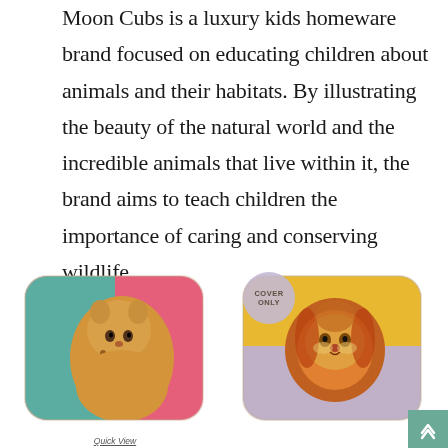Moon Cubs is a luxury kids homeware brand focused on educating children about animals and their habitats. By illustrating the beauty of the natural world and the incredible animals that live within it, the brand aims to teach children the importance of caring and conserving wildlife.
[Figure (photo): Decorative cushion with colorful cheetah illustration on pink and teal background]
Quick View
Lion & Cheetah Animal Organic Cushion
[Figure (photo): Decorative cushion with colorful lion illustration on warm yellow and purple background, with 'COVER ONLY' badge]
Lion & Cheetah Animal Organic Cushion Cover